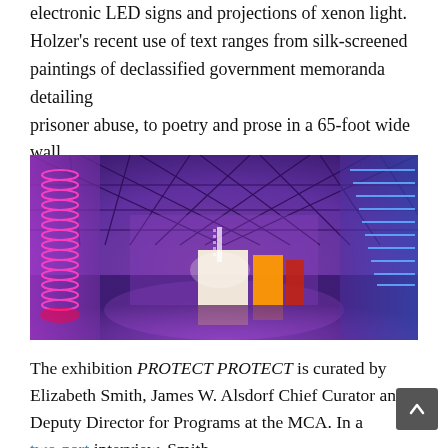electronic LED signs and projections of xenon light. Holzer's recent use of text ranges from silk-screened paintings of declassified government memoranda detailing prisoner abuse, to poetry and prose in a 65-foot wide wall of light in the lobby of 7 World Trade Center, New York.
[Figure (photo): Interior of an art gallery with neon/LED light installations. Spiral pink/red neon tubes on the left wall, blue LED strips on the right wall and ceiling, purple ambient lighting, and bright yellow/orange doorways visible in the background center.]
The exhibition PROTECT PROTECT is curated by Elizabeth Smith, James W. Alsdorf Chief Curator and Deputy Director for Programs at the MCA. In a two-part interview, Smith